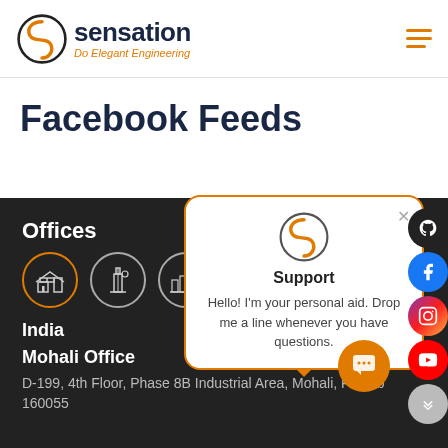sensation — Do Elegant Engineering
Facebook Feeds
Offices
[Figure (infographic): Three circular office location icons, first one highlighted with orange border]
[Figure (infographic): Support chat popup overlay with sensation logo, Support title, and message: Hello! I'm your personal aid. Drop me a line whenever you have questions.]
India
Mohali Office
D-199, 4th Floor, Phase 8B Industrial Area, Mohali, Punjab 160055